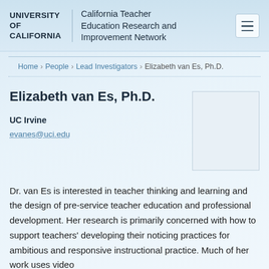UNIVERSITY OF CALIFORNIA | California Teacher Education Research and Improvement Network
Home › People › Lead Investigators › Elizabeth van Es, Ph.D.
Elizabeth van Es, Ph.D.
UC Irvine
evanes@uci.edu
[Figure (photo): Portrait photo placeholder box for Elizabeth van Es, Ph.D.]
Dr. van Es is interested in teacher thinking and learning and the design of pre-service teacher education and professional development. Her research is primarily concerned with how to support teachers' developing their noticing practices for ambitious and responsive instructional practice. Much of her work uses video